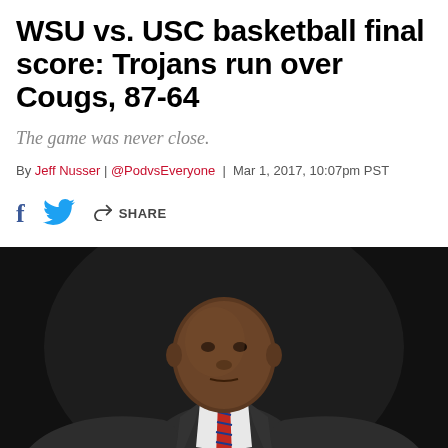WSU vs. USC basketball final score: Trojans run over Cougs, 87-64
The game was never close.
By Jeff Nusser | @PodvsEveryone | Mar 1, 2017, 10:07pm PST
[Figure (photo): A basketball coach in a dark suit and striped red tie, gesturing with both hands raised and open, against a dark background]